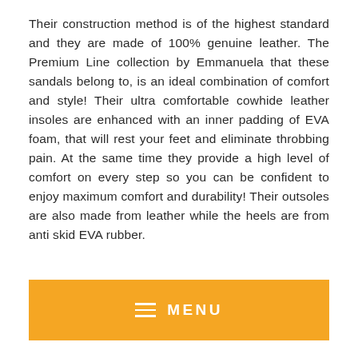Their construction method is of the highest standard and they are made of 100% genuine leather. The Premium Line collection by Emmanuela that these sandals belong to, is an ideal combination of comfort and style! Their ultra comfortable cowhide leather insoles are enhanced with an inner padding of EVA foam, that will rest your feet and eliminate throbbing pain. At the same time they provide a high level of comfort on every step so you can be confident to enjoy maximum comfort and durability! Their outsoles are also made from leather while the heels are from anti skid EVA rubber.
[Figure (other): Orange menu button bar with hamburger icon and MENU text]